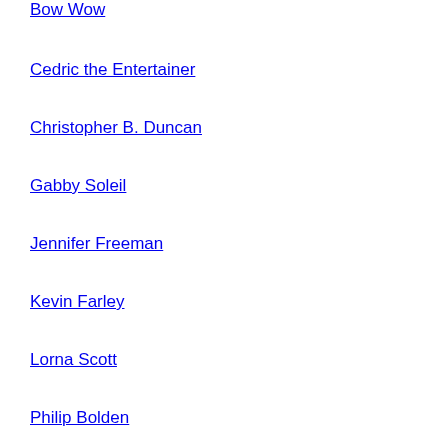Bow Wow
Cedric the Entertainer
Christopher B. Duncan
Gabby Soleil
Jennifer Freeman
Kevin Farley
Lorna Scott
Philip Bolden
Rodney Perry
Shannon Elizabeth